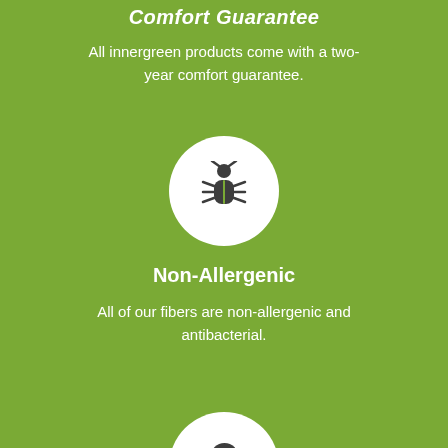Comfort Guarantee
All innergreen products come with a two-year comfort guarantee.
[Figure (illustration): White circle with a dark bug/allergen icon inside, on green background]
Non-Allergenic
All of our fibers are non-allergenic and antibacterial.
[Figure (illustration): White circle with a dark pin/location marker icon inside, partially visible at bottom of page]